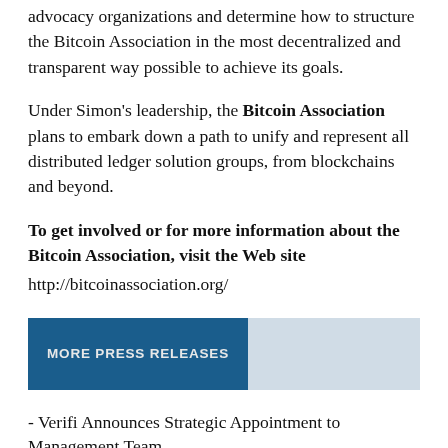advocacy organizations and determine how to structure the Bitcoin Association in the most decentralized and transparent way possible to achieve its goals.
Under Simon's leadership, the Bitcoin Association plans to embark down a path to unify and represent all distributed ledger solution groups, from blockchains and beyond.
To get involved or for more information about the Bitcoin Association, visit the Web site http://bitcoinassociation.org/
[Figure (other): Button bar with dark blue 'MORE PRESS RELEASES' button on the left and light blue/grey panel on the right]
- Verifi Announces Strategic Appointment to Management Team